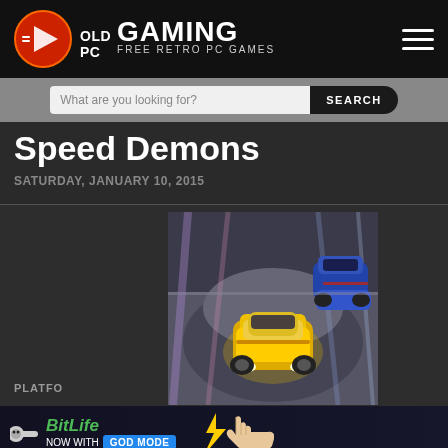OLD PC GAMING - FREE RETRO PC GAMES
Speed Demons
SATURDAY, JANUARY 10, 2015
[Figure (screenshot): Speed Demons game cover art showing a yellow racing car on a track with a competitor behind]
[Figure (other): 2-star rating out of 5 stars]
Close X
PLATFO
PUBLI
[Figure (other): BitLife advertisement banner - NOW WITH GOD MODE]